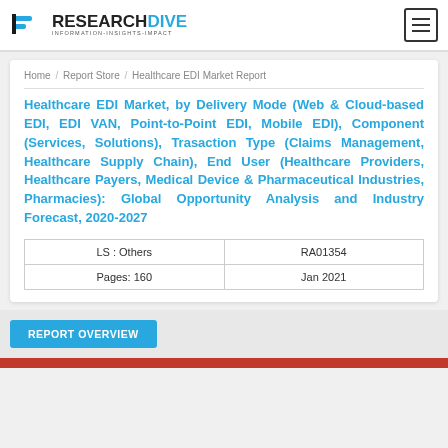RESEARCHDIVE INFORMATION-INSIGHTS-IMPACT
Home / Report Store / Healthcare EDI Market Report
Healthcare EDI Market, by Delivery Mode (Web & Cloud-based EDI, EDI VAN, Point-to-Point EDI, Mobile EDI), Component (Services, Solutions), Trasaction Type (Claims Management, Healthcare Supply Chain), End User (Healthcare Providers, Healthcare Payers, Medical Device & Pharmaceutical Industries, Pharmacies): Global Opportunity Analysis and Industry Forecast, 2020-2027
| LS : Others | RA01354 |
| Pages: 160 | Jan 2021 |
REPORT OVERVIEW